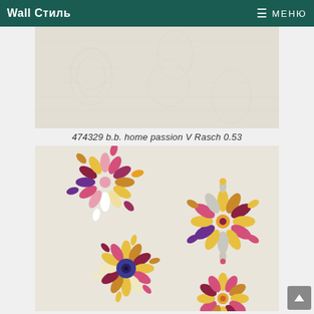Wall Стиль  ≡ МЕНЮ
[Figure (photo): Wallpaper sample showing a plain off-white/cream textured surface with subtle pattern, product 474329]
474329 b.b. home passion V Rasch 0.53
[Figure (photo): Wallpaper sample showing colorful floral mandala patterns on cream background, with multi-colored petal rosettes in pink, yellow, brown, purple, and white on a light beige textured surface]